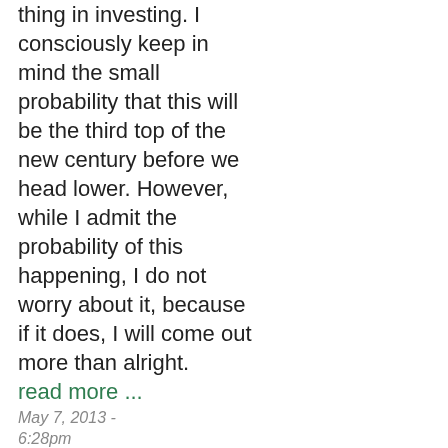thing in investing. I consciously keep in mind the small probability that this will be the third top of the new century before we head lower. However, while I admit the probability of this happening, I do not worry about it, because if it does, I will come out more than alright. read more ...
May 7, 2013 - 6:28pm